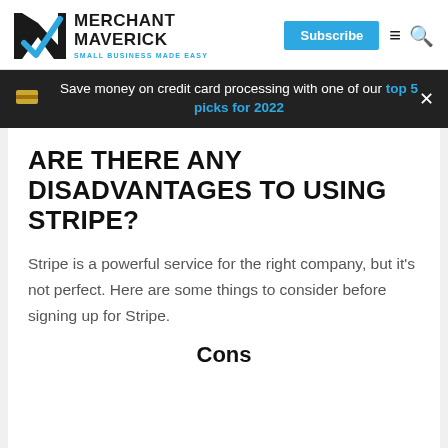MERCHANT MAVERICK — SMALL BUSINESS MADE EASY
Save money on credit card processing with one of our top 5 picks for 2022
ARE THERE ANY DISADVANTAGES TO USING STRIPE?
Stripe is a powerful service for the right company, but it's not perfect. Here are some things to consider before signing up for Stripe.
Cons